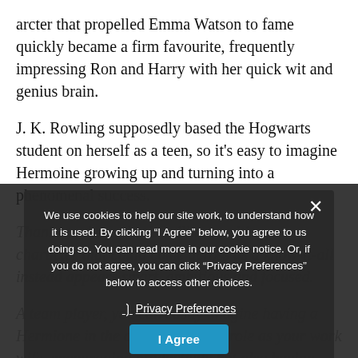arcter that propelled Emma Watson to fame quickly became a firm favourite, frequently impressing Ron and Harry with her quick wit and genius brain.
J. K. Rowling supposedly based the Hogwarts student on herself as a teen, so it's easy to imagine Hermoine growing up and turning into a phenomenal success.
Thanks to the author's brilliant writing, a character that could come across as a know-it-all instead appears smart, ambitious and focused.
A team player, you can easily imagine having a Hermione in the office filling the role as your work wife, encouraging productivity but also having your back.
We use cookies to help our site work, to understand how it is used. By clicking "I Agree" below, you agree to us doing so. You can read more in our cookie notice. Or, if you do not agree, you can click "Privacy Preferences" below to access other choices.
Privacy Preferences
I Agree